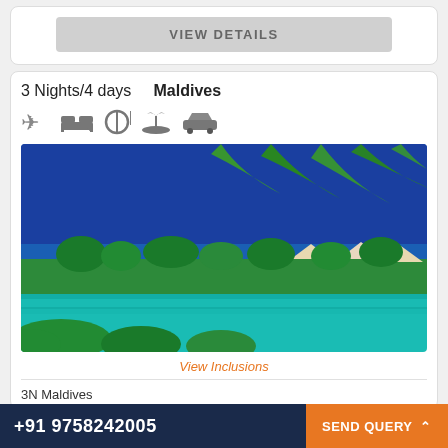[Figure (screenshot): VIEW DETAILS button area (top card, partially visible)]
3 Nights/4 days   Maldives
[Figure (illustration): Row of travel icons: airplane, bed/hotel, dining, island/beach, car]
[Figure (photo): Tropical Maldives lagoon photo with palm fronds, turquoise water, and island resort in background]
View Inclusions
3N Maldives
+91 9758242005   SEND QUERY